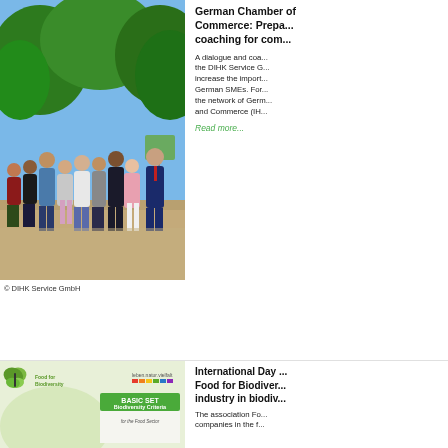[Figure (photo): Group of people standing outdoors in front of trees on a sunny day — approximately 10 people of various ages and genders posing together on a gravel path with lush green trees in the background.]
© DIHK Service GmbH
German Chamber of Commerce: Prepa... coaching for com...
A dialogue and coa... the DIHK Service G... increase the import... German SMEs. For... the network of Germ... and Commerce (IH...
Read more...
[Figure (photo): Promotional image for 'Food for Biodiversity' association showing a logo with a butterfly, the 'leben.natur.vielfalt' banner and a booklet titled 'BASIC SET Biodiversity Criteria for the Food Sector' with a green cover.]
International Day ... Food for Biodiver... industry in biodiv...
The association Fo... companies in the f...